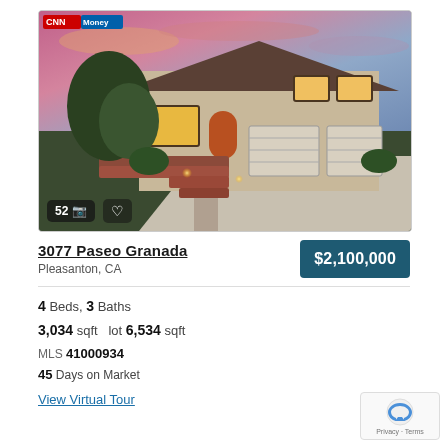[Figure (photo): Two-story suburban home at dusk with dramatic pink/purple sky, brick landscaping, arched front door, three-car garage, illuminated windows. Badge shows 52 photos.]
3077 Paseo Granada
Pleasanton, CA
$2,100,000
4 Beds, 3 Baths
3,034 sqft  lot 6,534 sqft
MLS 41000934
45 Days on Market
View Virtual Tour